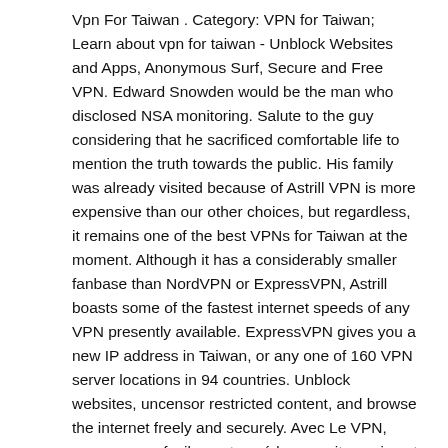Vpn For Taiwan . Category: VPN for Taiwan; Learn about vpn for taiwan - Unblock Websites and Apps, Anonymous Surf, Secure and Free VPN. Edward Snowden would be the man who disclosed NSA monitoring. Salute to the guy considering that he sacrificed comfortable life to mention the truth towards the public. His family was already visited because of Astrill VPN is more expensive than our other choices, but regardless, it remains one of the best VPNs for Taiwan at the moment. Although it has a considerably smaller fanbase than NordVPN or ExpressVPN, Astrill boasts some of the fastest internet speeds of any VPN presently available. ExpressVPN gives you a new IP address in Taiwan, or any one of 160 VPN server locations in 94 countries. Unblock websites, uncensor restricted content, and browse the internet freely and securely. Avec Le VPN, vous pouvez facilement accéder aux sites qui sont bloqués quand vous êtes en Chine. Le tarif de notre abonnement tout compris et son activation immédiate vous donnent un moyen rentable et efficace d'accéder à l'information